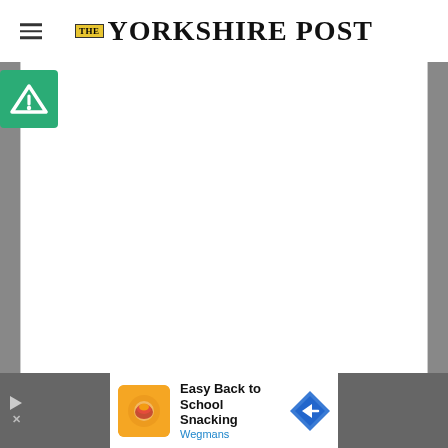THE YORKSHIRE POST
[Figure (logo): The Yorkshire Post newspaper logo with yellow 'THE' box and bold serif text]
[Figure (other): Green square badge with white triangle/A logo (Adblock or similar)]
[Figure (other): Large white content area placeholder - article image area]
[Figure (other): Advertisement banner: Easy Back to School Snacking - Wegmans, with orange product image and blue diamond arrow icon]